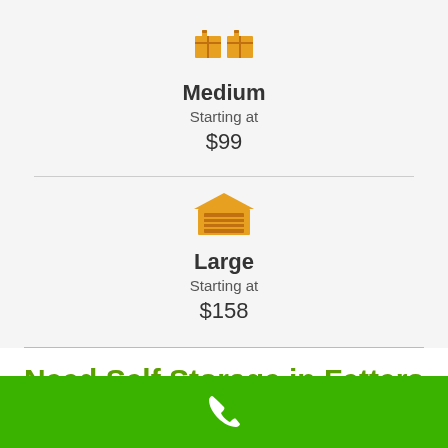[Figure (illustration): Orange boxes/crates icon representing Medium storage size]
Medium
Starting at
$99
[Figure (illustration): Orange garage/storage unit icon representing Large storage size]
Large
Starting at
$158
Need Self Storage in Fetters Hot Springs-Agua Caliente?
[Figure (illustration): White phone icon on green bar at bottom of page]